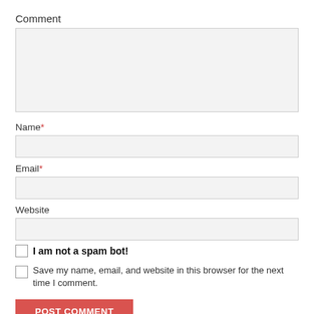Comment
Name*
Email*
Website
I am not a spam bot!
Save my name, email, and website in this browser for the next time I comment.
POST COMMENT